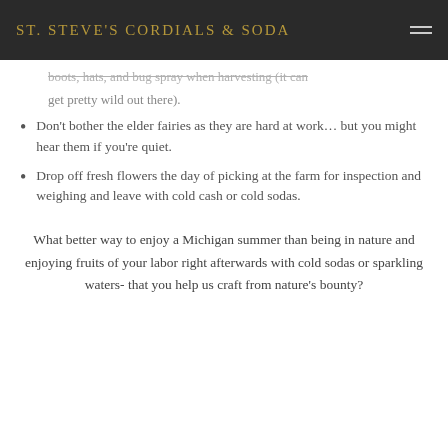ST. STEVE'S CORDIALS & SODA
boots, hats, and bug spray when harvesting (it can get pretty wild out there).
Don't bother the elder fairies as they are hard at work… but you might hear them if you're quiet.
Drop off fresh flowers the day of picking at the farm for inspection and weighing and leave with cold cash or cold sodas.
What better way to enjoy a Michigan summer than being in nature and enjoying fruits of your labor right afterwards with cold sodas or sparkling waters- that you help us craft from nature's bounty?